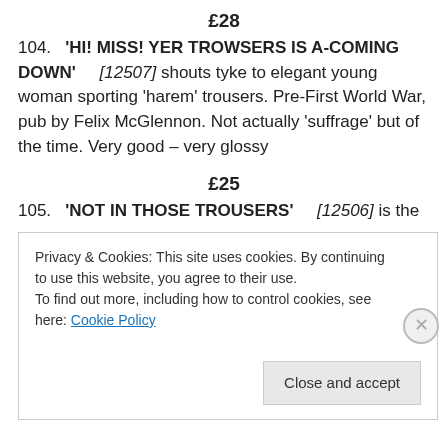£28
104. 'HI! MISS! YER TROWSERS IS A-COMING DOWN' [12507] shouts tyke to elegant young woman sporting 'harem' trousers. Pre-First World War, pub by Felix McGlennon. Not actually 'suffrage' but of the time. Very good – very glossy
£25
105. 'NOT IN THOSE TROUSERS' [12506] is the
Privacy & Cookies: This site uses cookies. By continuing to use this website, you agree to their use.
To find out more, including how to control cookies, see here: Cookie Policy
Close and accept